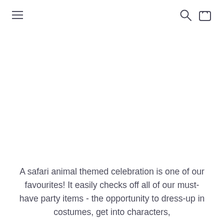navigation header with hamburger menu, search icon, and bag icon
A safari animal themed celebration is one of our favourites! It easily checks off all of our must-have party items - the opportunity to dress-up in costumes, get into characters,